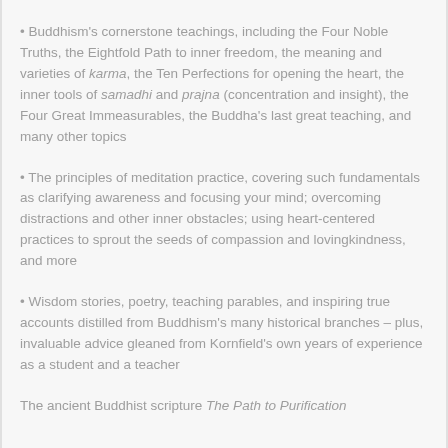• Buddhism's cornerstone teachings, including the Four Noble Truths, the Eightfold Path to inner freedom, the meaning and varieties of karma, the Ten Perfections for opening the heart, the inner tools of samadhi and prajna (concentration and insight), the Four Great Immeasurables, the Buddha's last great teaching, and many other topics
• The principles of meditation practice, covering such fundamentals as clarifying awareness and focusing your mind; overcoming distractions and other inner obstacles; using heart-centered practices to sprout the seeds of compassion and lovingkindness, and more
• Wisdom stories, poetry, teaching parables, and inspiring true accounts distilled from Buddhism's many historical branches – plus, invaluable advice gleaned from Kornfield's own years of experience as a student and a teacher
The ancient Buddhist scripture The Path to Purification